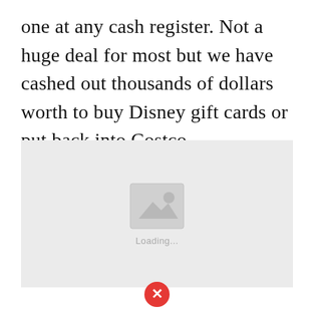one at any cash register. Not a huge deal for most but we have cashed out thousands of dollars worth to buy Disney gift cards or put back into Costco.
[Figure (other): Image loading placeholder with grey background, image icon, and 'Loading...' text below it. A red error icon with an X appears at the bottom center.]